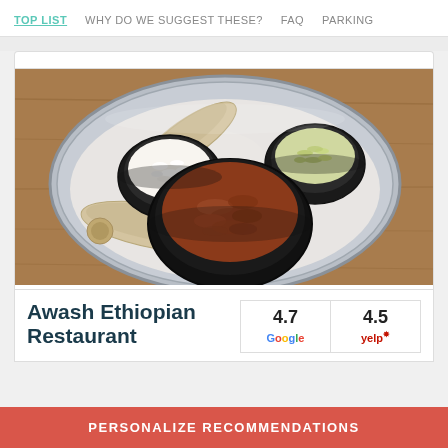TOP LIST   WHY DO WE SUGGEST THESE?   FAQ   PARKING
[Figure (photo): Ethiopian food spread on a round metal tray with three black bowls containing white cottage cheese/ayib, chopped green herbs, and reddish-brown spiced meat/kitfo, with rolled injera bread pieces arranged around the bowls]
Awash Ethiopian Restaurant
4.7 Google   4.5 yelp
PERSONALIZE RECOMMENDATIONS